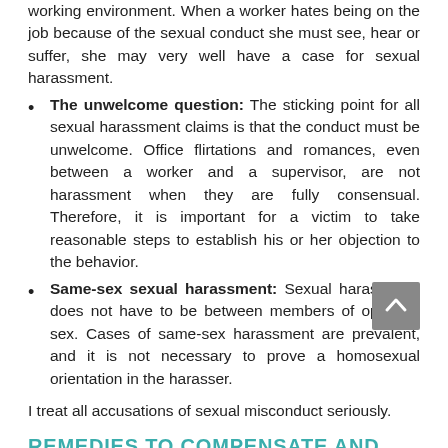working environment. When a worker hates being on the job because of the sexual conduct she must see, hear or suffer, she may very well have a case for sexual harassment.
The unwelcome question: The sticking point for all sexual harassment claims is that the conduct must be unwelcome. Office flirtations and romances, even between a worker and a supervisor, are not harassment when they are fully consensual. Therefore, it is important for a victim to take reasonable steps to establish his or her objection to the behavior.
Same-sex sexual harassment: Sexual harassment does not have to be between members of opposite sex. Cases of same-sex harassment are prevalent, and it is not necessary to prove a homosexual orientation in the harasser.
I treat all accusations of sexual misconduct seriously.
REMEDIES TO COMPENSATE AND RESTORE VICTIMS